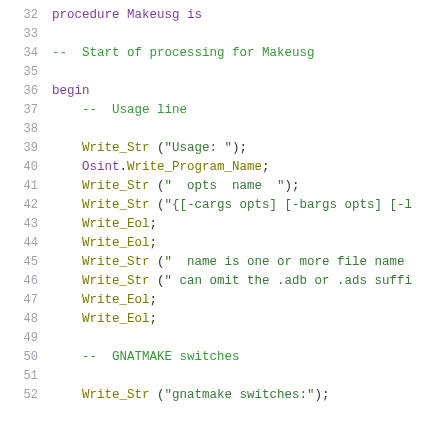[Figure (screenshot): Ada source code listing showing lines 32-52 of the Makeusg procedure, with syntax highlighting. Keywords in purple, comments in green, string literals in green, function calls in olive/yellow-green.]